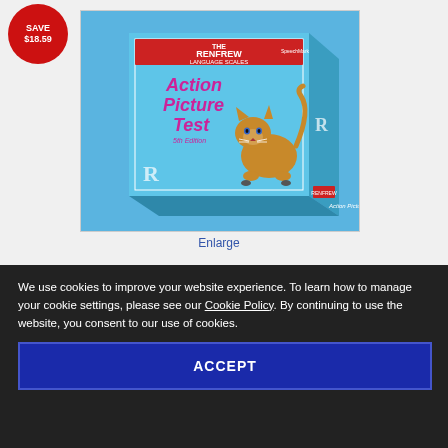[Figure (photo): Book cover of 'The Renfrew Language Scales – Action Picture Test, 5th Edition' showing a blue box with a Siamese cat illustration]
Enlarge
5th Edition
Action Picture Test
We use cookies to improve your website experience. To learn how to manage your cookie settings, please see our Cookie Policy. By continuing to use the website, you consent to our use of cookies.
ACCEPT